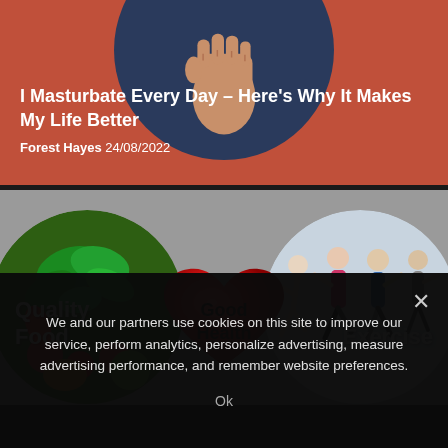[Figure (illustration): Article card with red/coral background, dark navy circle behind a raised fist, article title and author metadata overlaid]
I Masturbate Every Day – Here's Why It Makes My Life Better
Forest Hayes 24/08/2022
[Figure (infographic): Health infographic showing three overlapping circles: 'Quality Food' (vegetables), 'Good Health' (red heart), and 'Exercise' (people running), on grey background]
We and our partners use cookies on this site to improve our service, perform analytics, personalize advertising, measure advertising performance, and remember website preferences.
Ok